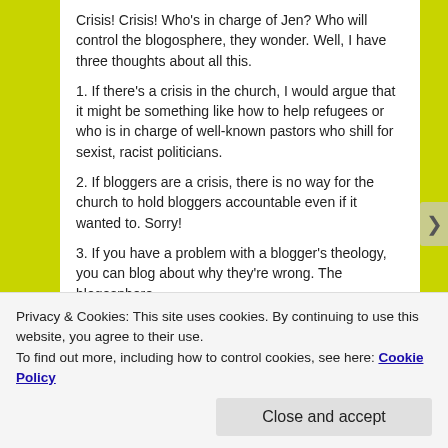Crisis! Crisis! Who’s in charge of Jen? Who will control the blogosphere, they wonder. Well, I have three thoughts about all this.
1. If there’s a crisis in the church, I would argue that it might be something like how to help refugees or who is in charge of well-known pastors who shill for sexist, racist politicians.
2. If bloggers are a crisis, there is no way for the church to hold bloggers accountable even if it wanted to. Sorry!
3. If you have a problem with a blogger’s theology, you can blog about why they’re wrong. The blogosphere
Privacy & Cookies: This site uses cookies. By continuing to use this website, you agree to their use.
To find out more, including how to control cookies, see here: Cookie Policy
Close and accept